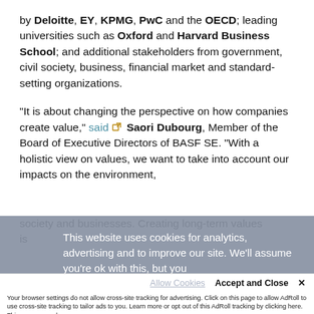by Deloitte, EY, KPMG, PwC and the OECD; leading universities such as Oxford and Harvard Business School; and additional stakeholders from government, civil society, business, financial market and standard-setting organizations.
“It is about changing the perspective on how companies create value,” said [external link] Saori Dubourg, Member of the Board of Executive Directors of BASF SE. “With a holistic view on values, we want to take into account our impacts on the environment, society and businesses. Creating long-term values is...
This website uses cookies for analytics, advertising and to improve our site. We’ll assume you’re ok with this, but you
Accept and Close ×
Your browser settings do not allow cross-site tracking for advertising. Click on this page to allow AdRoll to use cross-site tracking to tailor ads to you. Learn more or opt out of this AdRoll tracking by clicking here. This message only appears once.